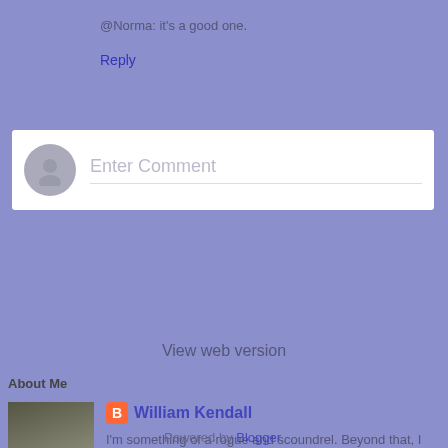@Norma: it's a good one.
Reply
[Figure (screenshot): Enter Comment input box with avatar placeholder]
[Figure (screenshot): Navigation bar with left arrow, Home button, and right arrow]
View web version
About Me
[Figure (photo): Photo of William Kendall, a bald man]
William Kendall
I'm something of a rogue and scoundrel. Beyond that, I deny all allegations against me.
View my complete profile
Powered by Blogger.